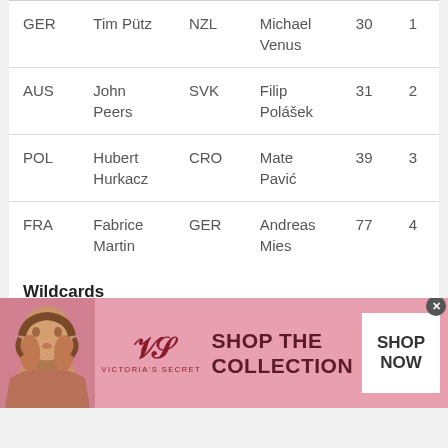| Nat. | Player | Nat. | Player | Rank | Pos |
| --- | --- | --- | --- | --- | --- |
| GER | Tim Pütz | NZL | Michael Venus | 30 | 1 |
| AUS | John Peers | SVK | Filip Polášek | 31 | 2 |
| POL | Hubert Hurkacz | CRO | Mate Pavić | 39 | 3 |
| FRA | Fabrice Martin | GER | Andreas Mies | 77 | 4 |
Wildcards
Dustin Brown / Evan King
Petros Tsitsipas / Stefanos Tsitsipas
[Figure (photo): Victoria's Secret advertisement banner with model, logo, and SHOP THE COLLECTION text with SHOP NOW button]